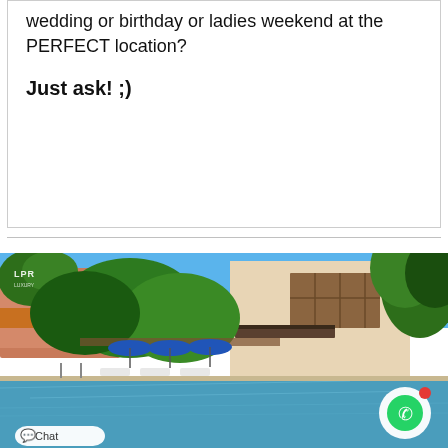wedding or birthday or ladies weekend at the PERFECT location?

Just ask! ;)
[Figure (photo): Exterior photo of a luxury villa with a swimming pool, blue umbrellas, lounge chairs, tropical palm trees, and modern beige/tan building with balconies. LPR logo watermark in top-left. WhatsApp chat button in bottom-right corner. Chat button in bottom-left corner.]